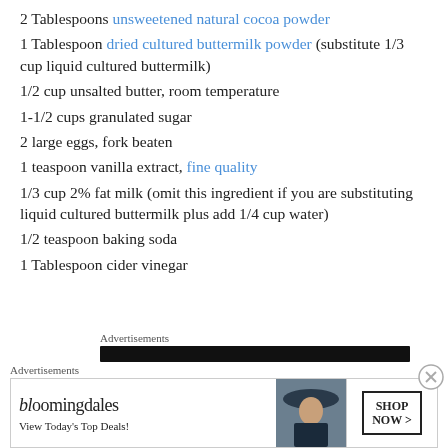2 Tablespoons unsweetened natural cocoa powder
1 Tablespoon dried cultured buttermilk powder (substitute 1/3 cup liquid cultured buttermilk)
1/2 cup unsalted butter, room temperature
1-1/2 cups granulated sugar
2 large eggs, fork beaten
1 teaspoon vanilla extract, fine quality
1/3 cup 2% fat milk (omit this ingredient if you are substituting liquid cultured buttermilk plus add 1/4 cup water)
1/2 teaspoon baking soda
1 Tablespoon cider vinegar
Advertisements
[Figure (other): Bloomingdale's advertisement banner with text 'View Today's Top Deals!' and 'SHOP NOW >']